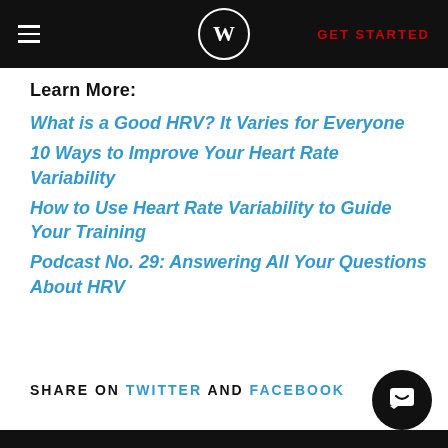W | GET STARTED
Learn More:
What is a Good HRV? It Varies for Everyone
10 Ways to Improve Your Heart Rate Variability
How to Use Heart Rate Variability to Guide Your Training
Podcast No. 29: Answering All Your Questions About HRV
SHARE ON TWITTER AND FACEBOOK